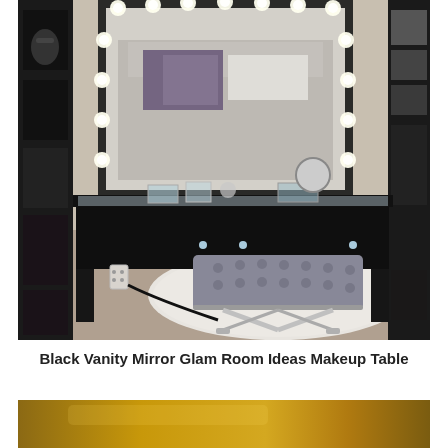[Figure (photo): A black makeup vanity table with a large Hollywood-style mirror surrounded by round light bulbs, a glass top surface with makeup items, crystal drawer pulls, and a tufted gray velvet bench with chrome X-frame legs. A white fluffy rug is on the floor. Black storage furniture is visible on the left side of the room. The room has gray carpet and a bed in the background.]
Black Vanity Mirror Glam Room Ideas Makeup Table
[Figure (photo): A partially visible photo below the caption showing a warm golden-brown surface, likely the top of another vanity or furniture piece.]